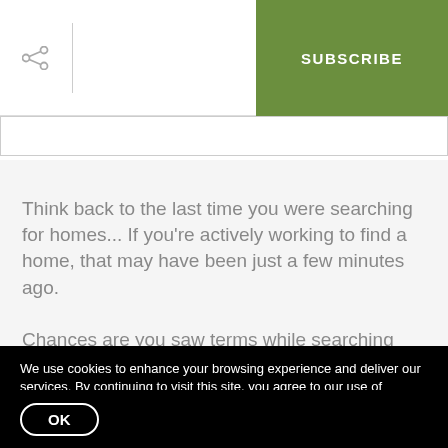SUBSCRIBE
Think back to the last time you were searching for homes... If you're actively working to find a home, that may have been just a few minutes ago.

Chances are you saw terms while searching that
We use cookies to enhance your browsing experience and deliver our services. By continuing to visit this site, you agree to our use of cookies. More info
OK